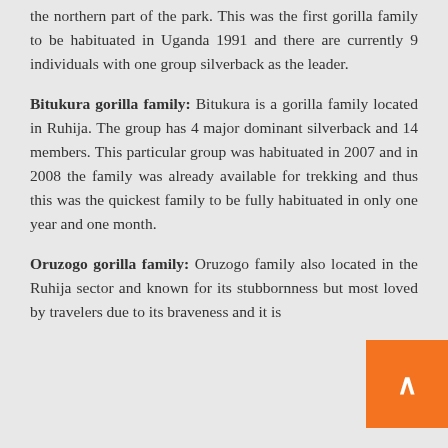the northern part of the park. This was the first gorilla family to be habituated in Uganda 1991 and there are currently 9 individuals with one group silverback as the leader.
Bitukura gorilla family: Bitukura is a gorilla family located in Ruhija. The group has 4 major dominant silverback and 14 members. This particular group was habituated in 2007 and in 2008 the family was already available for trekking and thus this was the quickest family to be fully habituated in only one year and one month.
Oruzogo gorilla family: Oruzogo family also located in the Ruhija sector and known for its stubbornness but most loved by travelers due to its braveness and it is